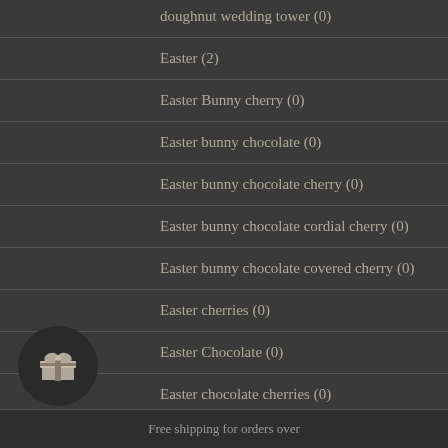doughnut wedding tower (0)
Easter (2)
Easter Bunny cherry (0)
Easter bunny chocolate (0)
Easter bunny chocolate cherry (0)
Easter bunny chocolate cordial cherry (0)
Easter bunny chocolate covered cherry (0)
Easter cherries (0)
Easter Chocolate (0)
Easter chocolate cherries (0)
Free shipping for orders over